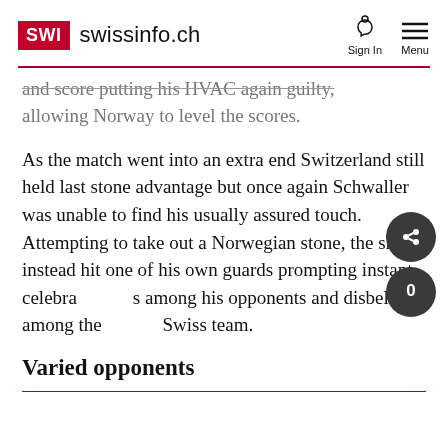SWI swissinfo.ch
…once leaving the HVAC again guilty, allowing Norway to level the scores.
As the match went into an extra end Switzerland still held last stone advantage but once again Schwaller was unable to find his usually assured touch. Attempting to take out a Norwegian stone, the skip instead hit one of his own guards prompting instant celebrations among his opponents and disbelief among the Swiss team.
Varied opponents